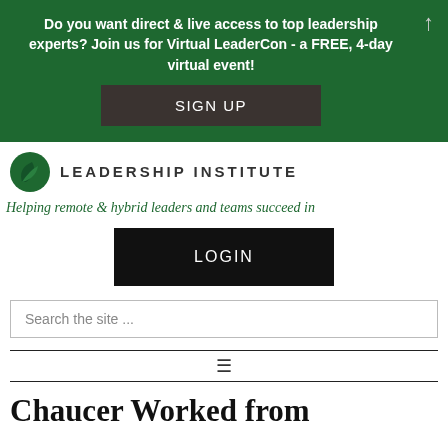[Figure (infographic): Green banner advertisement for Virtual LeaderCon with SIGN UP button and up arrow icon]
[Figure (logo): Leadership Institute logo with green leaf icon and text LEADERSHIP INSTITUTE]
Helping remote & hybrid leaders and teams succeed in
[Figure (infographic): LOGIN button in black]
Search the site ...
[Figure (infographic): Hamburger menu icon between two horizontal divider lines]
Chaucer Worked from